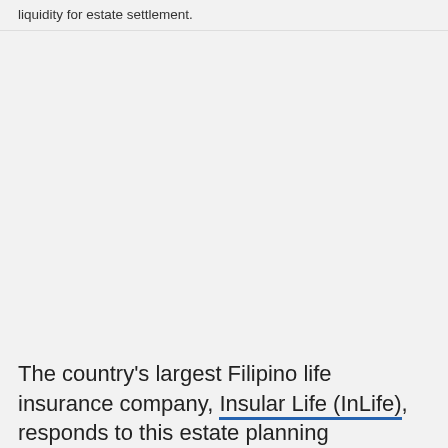liquidity for estate settlement.
The country's largest Filipino life insurance company, Insular Life (InLife), responds to this estate planning